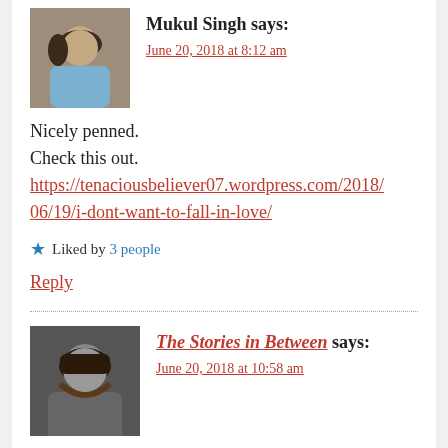Mukul Singh says:
June 20, 2018 at 8:12 am
Nicely penned.
Check this out.
https://tenaciousbeliever07.wordpress.com/2018/06/19/i-dont-want-to-fall-in-love/
Liked by 3 people
Reply
The Stories in Between says:
June 20, 2018 at 10:58 am
That's a good piece, I really like it!